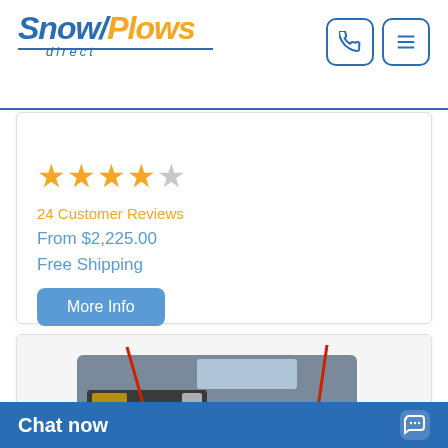Snow Plows Direct
Meyer Home Plow
★★★★½ 24 Customer Reviews From $2,225.00 Free Shipping
More Info
[Figure (photo): Front view of a truck with a snow plow blade attached, with red marker poles visible]
Chat now